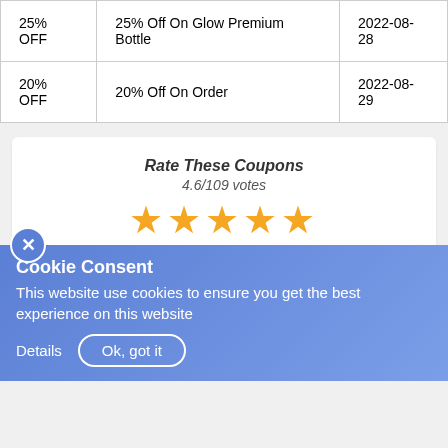| 25% OFF | 25% Off On Glow Premium Bottle | 2022-08-28 |
| 20% OFF | 20% Off On Order | 2022-08-29 |
Rate These Coupons
4.6/109 votes
★★★★★
Would you recommend?
Yes   No
Coupon Codes › Entertainment & Arts › Invitation In A Bottle Coupon Code
Cookie Consent
This website use cookies to ensure you get the best experience on this website
Details   Ok, got it